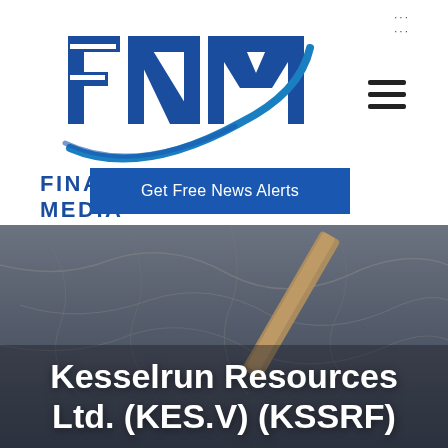[Figure (logo): FNM Financial News Media logo with stylized F, N, M letters in blue with swoosh element]
FINANCIAL NEWS MEDIA
Get Free News Alerts
[Figure (photo): Close-up photo of cracked dry earth/rock with a pickaxe or drilling rod visible]
Kesselrun Resources Ltd. (KES.V) (KSSRF)